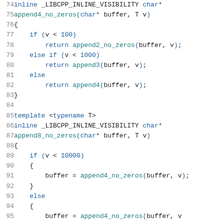[Figure (screenshot): Source code snippet in C++ showing lines 74-95 with syntax highlighting. Lines include template functions append4_no_zeros and append8_no_zeros with conditional return statements.]